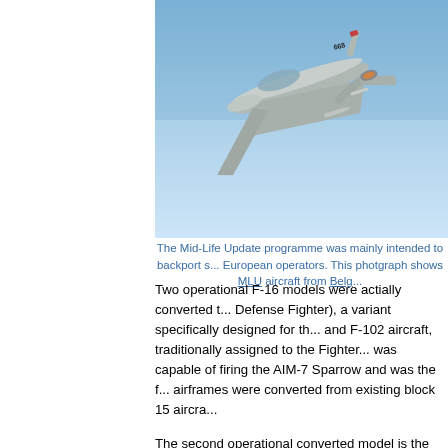[Figure (photo): A grey F-16 fighter jet (numbered 668) photographed from below against a blue sky, banking in flight. This appears to be an MLU aircraft.]
The Mid-Life Update programme was mainly intended to backport s... European operators. This photgraph shows MLU aircraft from Belg...
Two operational F-16 models were actially converted t... Defense Fighter), a variant specifically designed for th... and F-102 aircraft, traditionally assigned to the Fighter... was capable of firing the AIM-7 Sparrow and was the f... airframes were converted from existing block 15 aircra...
The second operational converted model is the F-16 b... significantly increase the operational capabilities of the... European customers (Belgium, Denmark, The Nether... A/B models, including a new Modular Mission Compu...